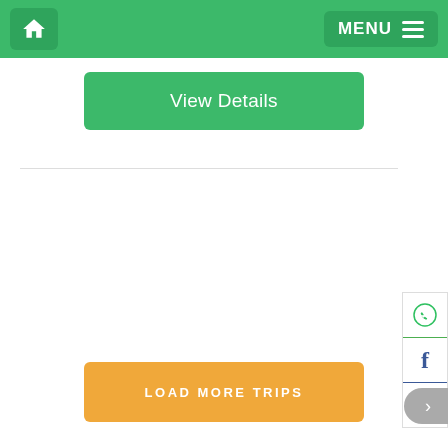[Figure (screenshot): Navigation bar with home icon on left and MENU hamburger button on right, green background]
View Details
LOAD MORE TRIPS
[Figure (infographic): Social media sidebar with WhatsApp, Facebook, and email icons]
Kayaking
[Figure (photo): Aerial or landscape photo showing trees and terrain]
Contact us